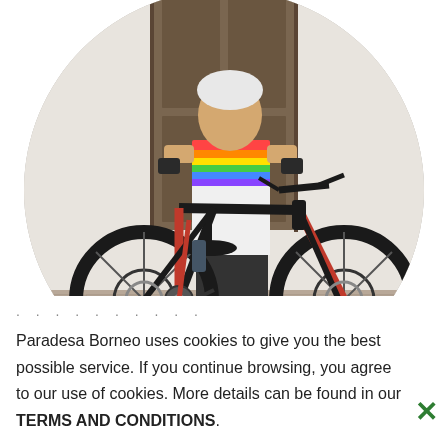[Figure (photo): Circular cropped photo of a cyclist in a colorful white jersey with rainbow stripes standing behind a black and red mountain bike on a brick paved path in front of a wooden door and white wall.]
Paradesa Borneo uses cookies to give you the best possible service. If you continue browsing, you agree to our use of cookies. More details can be found in our TERMS AND CONDITIONS.